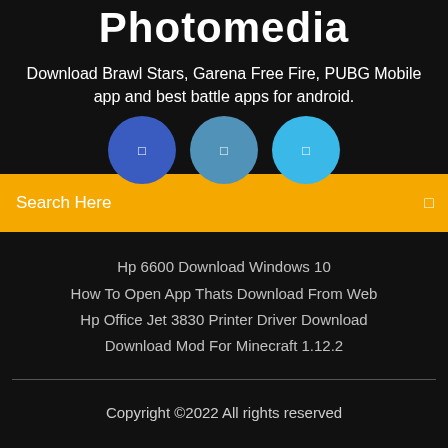Photomedia
Download Brawl Stars, Garena Free Fire, PUBG Mobile app and best battle apps for android.
[Figure (illustration): Three overlapping circles/icons in blue shades representing social/app icons]
Search Here
Hp 6600 Download Windows 10
How To Open App Thats Download From Web
Hp Office Jet 3830 Printer Driver Download
Download Mod For Minecraft 1.12.2
Copyright ©2022 All rights reserved